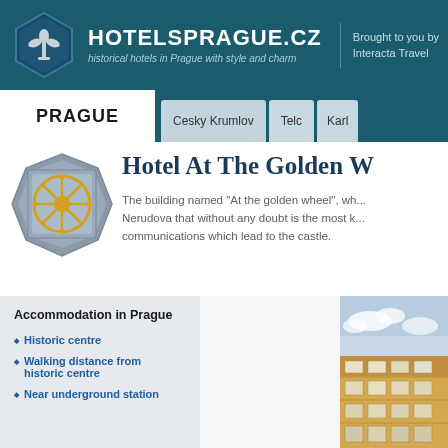HOTELSPRAGUE.CZ — historical hotels in Prague with style and charm | Brought to you by Interacta Travel
PRAGUE
Cesky Krumlov | Telc | Karl...
[Figure (logo): Hotel golden wheel crest logo — circular golden wheel on grey octagonal badge]
Hotel At The Golden W...
The building named "At the golden wheel", which is located in Nerudova that without any doubt is the most known communications which lead to the castle.
Accommodation in Prague
Historic centre
Walking distance from historic centre
Near underground station
[Figure (photo): Photo of a historic yellow building facade with balconies and windows, blue sky behind]